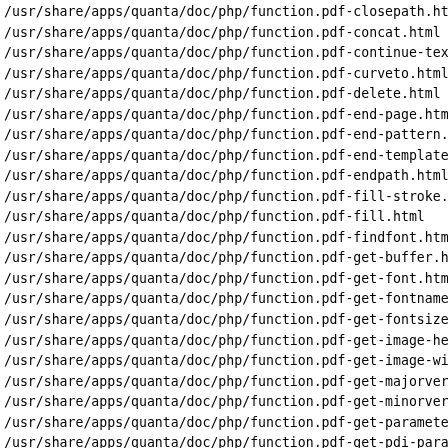/usr/share/apps/quanta/doc/php/function.pdf-closepath.html
/usr/share/apps/quanta/doc/php/function.pdf-concat.html
/usr/share/apps/quanta/doc/php/function.pdf-continue-text
/usr/share/apps/quanta/doc/php/function.pdf-curveto.html
/usr/share/apps/quanta/doc/php/function.pdf-delete.html
/usr/share/apps/quanta/doc/php/function.pdf-end-page.html
/usr/share/apps/quanta/doc/php/function.pdf-end-pattern.h
/usr/share/apps/quanta/doc/php/function.pdf-end-template
/usr/share/apps/quanta/doc/php/function.pdf-endpath.html
/usr/share/apps/quanta/doc/php/function.pdf-fill-stroke.h
/usr/share/apps/quanta/doc/php/function.pdf-fill.html
/usr/share/apps/quanta/doc/php/function.pdf-findfont.html
/usr/share/apps/quanta/doc/php/function.pdf-get-buffer.ht
/usr/share/apps/quanta/doc/php/function.pdf-get-font.html
/usr/share/apps/quanta/doc/php/function.pdf-get-fontname
/usr/share/apps/quanta/doc/php/function.pdf-get-fontsize
/usr/share/apps/quanta/doc/php/function.pdf-get-image-hei
/usr/share/apps/quanta/doc/php/function.pdf-get-image-wid
/usr/share/apps/quanta/doc/php/function.pdf-get-majorvers
/usr/share/apps/quanta/doc/php/function.pdf-get-minorvers
/usr/share/apps/quanta/doc/php/function.pdf-get-parameter
/usr/share/apps/quanta/doc/php/function.pdf-get-pdi-param
/usr/share/apps/quanta/doc/php/function.pdf-get-pdi-value
/usr/share/apps/quanta/doc/php/function.pdf-get-value.htm
/usr/share/apps/quanta/doc/php/function.pdf-initgraphics
/usr/share/apps/quanta/doc/php/function.pdf-lineto.html
/usr/share/apps/quanta/doc/php/function.pdf-makespotcolor
/usr/share/apps/quanta/doc/php/function.pdf-moveto.html
/usr/share/apps/quanta/doc/php/function.pdf-new.html
/usr/share/apps/quanta/doc/php/function.pdf-open-ccitt.ht